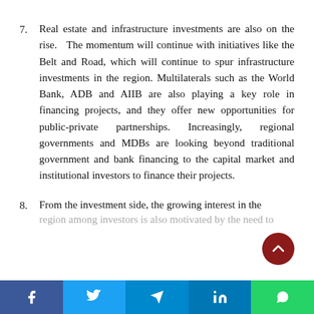Real estate and infrastructure investments are also on the rise.   The momentum will continue with initiatives like the Belt and Road, which will continue to spur infrastructure investments in the region. Multilaterals such as the World Bank, ADB and AIIB are also playing a key role in financing projects, and they offer new opportunities for public-private partnerships. Increasingly, regional governments and MDBs are looking beyond traditional government and bank financing to the capital market and institutional investors to finance their projects.
From the investment side, the growing interest in the region among investors is also motivated by the need to